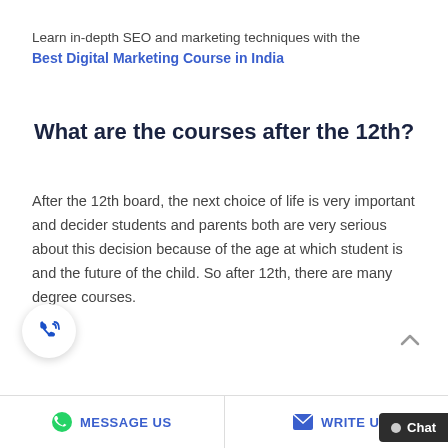Learn in-depth SEO and marketing techniques with the Best Digital Marketing Course in India
What are the courses after the 12th?
After the 12th board, the next choice of life is very important and decider students and parents both are very serious about this decision because of the age at which student is and the future of the child. So after 12th, there are many degree courses.
MESSAGE US   WRITE U   Chat